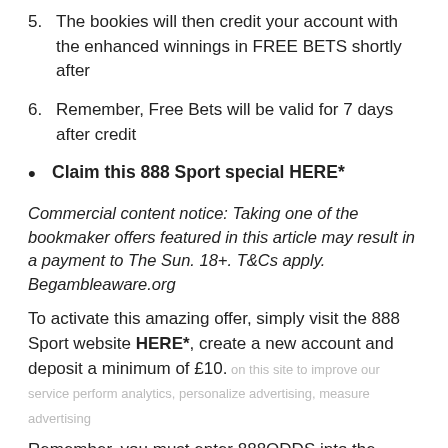5. The bookies will then credit your account with the enhanced winnings in FREE BETS shortly after
6. Remember, Free Bets will be valid for 7 days after credit
• Claim this 888 Sport special HERE*
Commercial content notice: Taking one of the bookmaker offers featured in this article may result in a payment to The Sun. 18+. T&Cs apply. Begambleaware.org
To activate this amazing offer, simply visit the 888 Sport website HERE*, create a new account and deposit a minimum of £10.
Remember, you must enter 888ODDS into the promo code section.